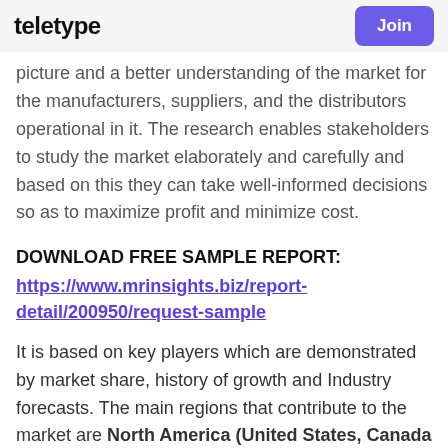TELETYPE | Join
picture and a better understanding of the market for the manufacturers, suppliers, and the distributors operational in it. The research enables stakeholders to study the market elaborately and carefully and based on this they can take well-informed decisions so as to maximize profit and minimize cost.
DOWNLOAD FREE SAMPLE REPORT:
https://www.mrinsights.biz/report-detail/200950/request-sample
It is based on key players which are demonstrated by market share, history of growth and Industry forecasts. The main regions that contribute to the market are North America (United States, Canada and Mexico), Europe (Germany, France,